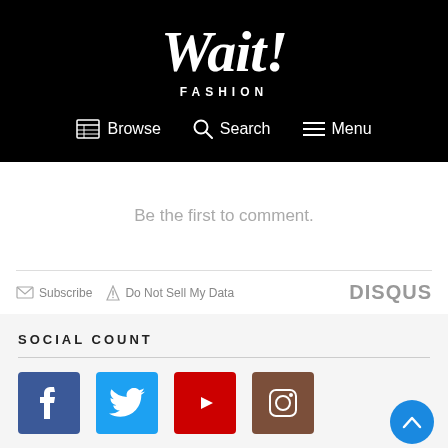Wait! FASHION
[Figure (screenshot): Navigation bar with Browse, Search, and Menu icons on black background]
Be the first to comment.
[Figure (other): Disqus comment footer bar with Subscribe, Do Not Sell My Data links and DISQUS logo]
SOCIAL COUNT
[Figure (other): Social media icons: Facebook, Twitter, YouTube, Instagram]